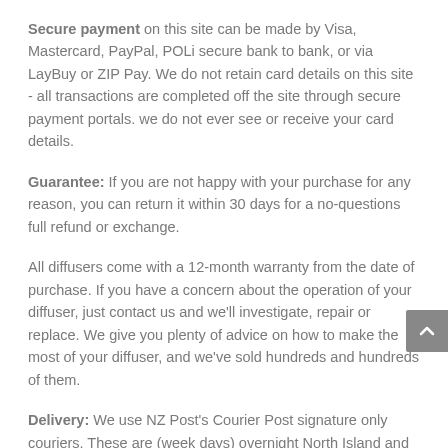Secure payment on this site can be made by Visa, Mastercard, PayPal, POLi secure bank to bank, or via LayBuy or ZIP Pay. We do not retain card details on this site - all transactions are completed off the site through secure payment portals. we do not ever see or receive your card details.
Guarantee: If you are not happy with your purchase for any reason, you can return it within 30 days for a no-questions full refund or exchange.
All diffusers come with a 12-month warranty from the date of purchase. If you have a concern about the operation of your diffuser, just contact us and we'll investigate, repair or replace. We give you plenty of advice on how to make the most of your diffuser, and we've sold hundreds and hundreds of them.
Delivery: We use NZ Post's Courier Post signature only couriers. These are (week days) overnight North Island and 1 - 2 days South Island. Rural Deliveries, while often meeting